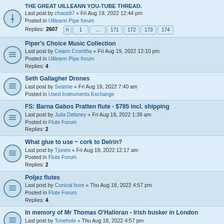THE GREAT UILLEANN YOU-TUBE THREAD. Last post by chaos97 « Fri Aug 19, 2022 12:44 pm Posted in Uilleann Pipe forum Replies: 2607
Piper's Choice Music Collection Last post by Ceann Cromtha « Fri Aug 19, 2022 12:10 pm Posted in Uilleann Pipe forum Replies: 4
Seth Gallagher Drones Last post by Seamie « Fri Aug 19, 2022 7:40 am Posted in Used Instruments Exchange
FS: Barna Gabos Pratten flute - $785 incl. shipping Last post by Julia Delaney « Fri Aug 19, 2022 1:39 am Posted in Flute Forum Replies: 2
What glue to use ~ cork to Delrin? Last post by Tjones « Fri Aug 19, 2022 12:17 am Posted in Flute Forum Replies: 2
Poljez flutes Last post by Conical bore « Thu Aug 18, 2022 4:57 pm Posted in Flute Forum Replies: 4
In memory of Mr Thomas O'Halloran - Irish busker in London Last post by Tonehole « Thu Aug 18, 2022 4:57 pm Posted in Irish Traditional Music Forum
The FluteFling Collection - new tunebook Last post by kenny « Thu Aug 18, 2022 3:24 pm Posted in Flute Forum